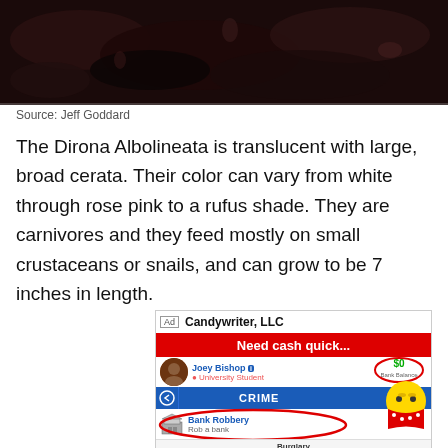[Figure (photo): Dark close-up photo of seaweed or marine organism, dark reddish-brown with some shiny areas]
Source: Jeff Goddard
The Dirona Albolineata is translucent with large, broad cerata. Their color can vary from white through rose pink to a rufus shade. They are carnivores and they feed mostly on small crustaceans or snails, and can grow to be 7 inches in length.
[Figure (screenshot): Mobile game advertisement for Candywriter, LLC showing 'Need cash quick...' with Joey Bishop character, $0 Bank Balance, CRIME menu with Bank Robbery option circled in red, and a yellow emoji character wearing a red bandana]